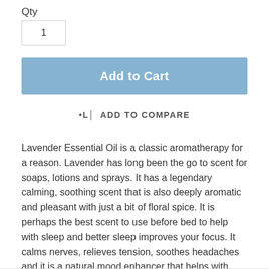Qty
1
Add to Cart
ADD TO COMPARE
Lavender Essential Oil is a classic aromatherapy for a reason. Lavender has long been the go to scent for soaps, lotions and sprays. It has a legendary calming, soothing scent that is also deeply aromatic and pleasant with just a bit of floral spice. It is perhaps the best scent to use before bed to help with sleep and better sleep improves your focus. It calms nerves, relieves tension, soothes headaches and it is a natural mood enhancer that helps with depression.O-L183-E